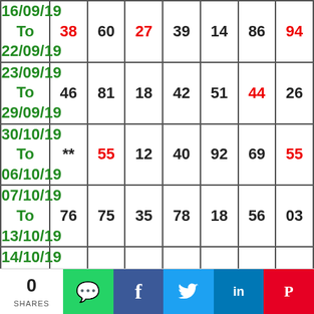| Date | Col1 | Col2 | Col3 | Col4 | Col5 | Col6 | Col7 |
| --- | --- | --- | --- | --- | --- | --- | --- |
| 16/09/19 To 22/09/19 | 38 | 60 | 27 | 39 | 14 | 86 | 94 |
| 23/09/19 To 29/09/19 | 46 | 81 | 18 | 42 | 51 | 44 | 26 |
| 30/10/19 To 06/10/19 | ** | 55 | 12 | 40 | 92 | 69 | 55 |
| 07/10/19 To 13/10/19 | 76 | 75 | 35 | 78 | 18 | 56 | 03 |
| 14/10/19 To 20/10/19 | 44 | 92 | 73 | 57 | 11 | 83 | 73 |
| 21/10/19 To 27/10/19 | 60 | 18 | 06 | 60 | 29 | 44 | 18 |
| 28/10/19 To 03/11/19 | 48 | 03 | 17 | ** | 98 | Refresh |  |
0 SHARES | WhatsApp | Facebook | Twitter | LinkedIn | Pinterest